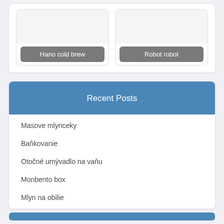[Figure (screenshot): Card with image area and label 'Hario cold brew']
[Figure (screenshot): Card with image area and label 'Robot robot']
Recent Posts
Masove mlynceky
Baňkovanie
Otočné umývadlo na vaňu
Monbento box
Mlyn na obilie